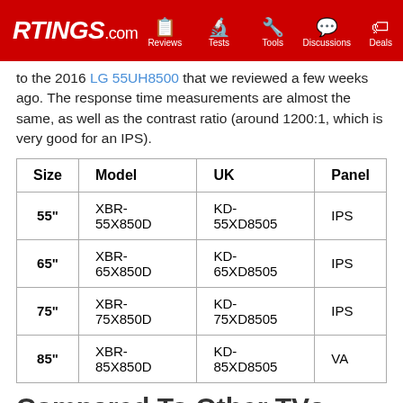RTINGS.com — Reviews, Tests, Tools, Discussions, Deals
to the 2016 LG 55UH8500 that we reviewed a few weeks ago. The response time measurements are almost the same, as well as the contrast ratio (around 1200:1, which is very good for an IPS).
| Size | Model | UK | Panel |
| --- | --- | --- | --- |
| 55" | XBR-55X850D | KD-55XD8505 | IPS |
| 65" | XBR-65X850D | KD-65XD8505 | IPS |
| 75" | XBR-75X850D | KD-75XD8505 | IPS |
| 85" | XBR-85X850D | KD-85XD8505 | VA |
Compared To Other TVs
[Figure (photo): Photo of TVs in a room setting with RTINGS.com watermark]